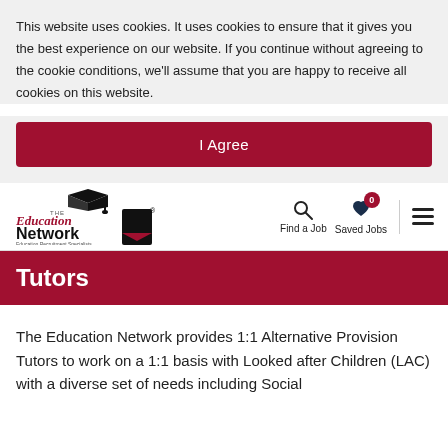This website uses cookies. It uses cookies to ensure that it gives you the best experience on our website. If you continue without agreeing to the cookie conditions, we'll assume that you are happy to receive all cookies on this website.
I Agree
[Figure (logo): The Education Network logo — graduation cap icon above cursive 'Education Network' text with tagline 'Education Recruitment Specialists' and a red/black geometric chevron mark]
Find a Job
Saved Jobs
Tutors
The Education Network provides 1:1 Alternative Provision Tutors to work on a 1:1 basis with Looked after Children (LAC) with a diverse set of needs including Social